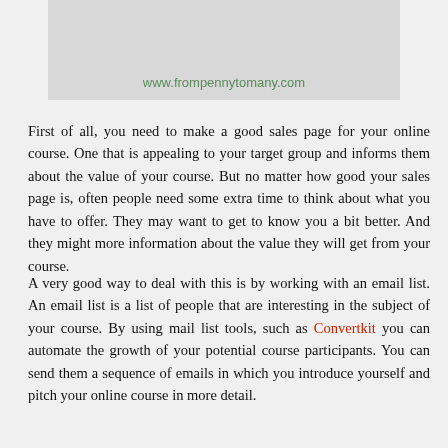[Figure (other): Gray header box with website URL www.frompennytomany.com displayed in green text]
First of all, you need to make a good sales page for your online course. One that is appealing to your target group and informs them about the value of your course. But no matter how good your sales page is, often people need some extra time to think about what you have to offer. They may want to get to know you a bit better. And they might more information about the value they will get from your course.
A very good way to deal with this is by working with an email list. An email list is a list of people that are interesting in the subject of your course. By using mail list tools, such as Convertkit you can automate the growth of your potential course participants. You can send them a sequence of emails in which you introduce yourself and pitch your online course in more detail.